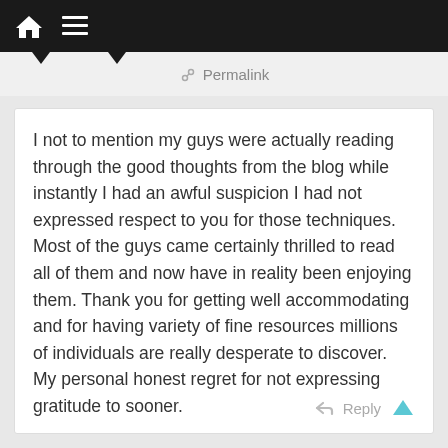Home | Menu
Permalink
I not to mention my guys were actually reading through the good thoughts from the blog while instantly I had an awful suspicion I had not expressed respect to you for those techniques. Most of the guys came certainly thrilled to read all of them and now have in reality been enjoying them. Thank you for getting well accommodating and for having variety of fine resources millions of individuals are really desperate to discover. My personal honest regret for not expressing gratitude to sooner.